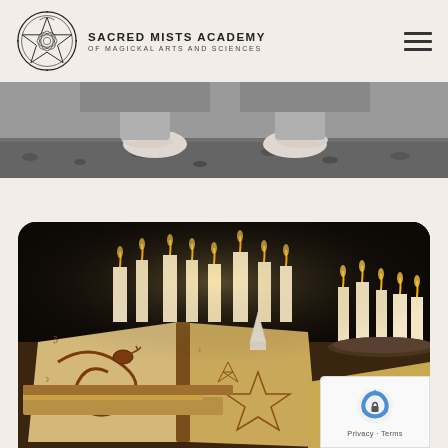[Figure (logo): Sacred Mists Academy circular logo with pentacle and decorative botanical motif]
SACRED MISTS ACADEMY
OF MAGICKAL ARTS AND SCIENCES
[Figure (photo): Black and white photo showing bare feet on ground, cropped lower body]
[Figure (photo): Color photo of antique grimoire/spell books open with hand-drawn serpent and sigil illustrations, surrounded by lit candles on a dark table, with a rounded top-corner border]